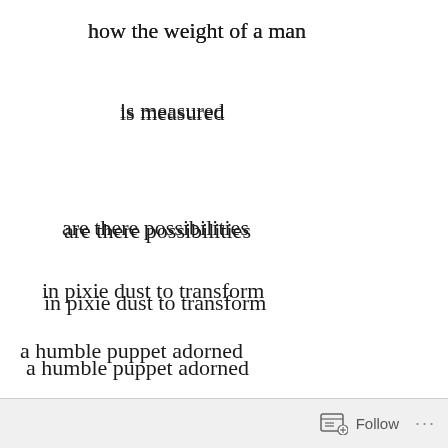how the weight of a man
is measured
are there possibilities
in pixie dust to transform
a humble puppet adorned
with tethered strings
to control and manipulate
each and every
Follow